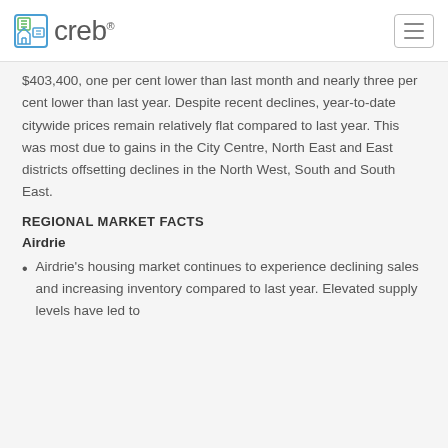creb
$403,400, one per cent lower than last month and nearly three per cent lower than last year. Despite recent declines, year-to-date citywide prices remain relatively flat compared to last year. This was most due to gains in the City Centre, North East and East districts offsetting declines in the North West, South and South East.
REGIONAL MARKET FACTS
Airdrie
Airdrie's housing market continues to experience declining sales and increasing inventory compared to last year. Elevated supply levels have led to